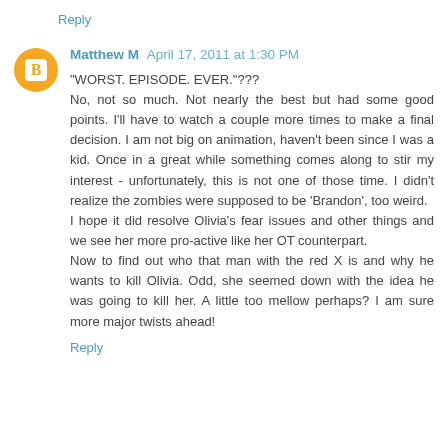Reply
Matthew M April 17, 2011 at 1:30 PM
"WORST. EPISODE. EVER."???
No, not so much. Not nearly the best but had some good points. I'll have to watch a couple more times to make a final decision. I am not big on animation, haven't been since I was a kid. Once in a great while something comes along to stir my interest - unfortunately, this is not one of those time. I didn't realize the zombies were supposed to be 'Brandon', too weird.
I hope it did resolve Olivia's fear issues and other things and we see her more pro-active like her OT counterpart.
Now to find out who that man with the red X is and why he wants to kill Olivia. Odd, she seemed down with the idea he was going to kill her. A little too mellow perhaps? I am sure more major twists ahead!
Reply